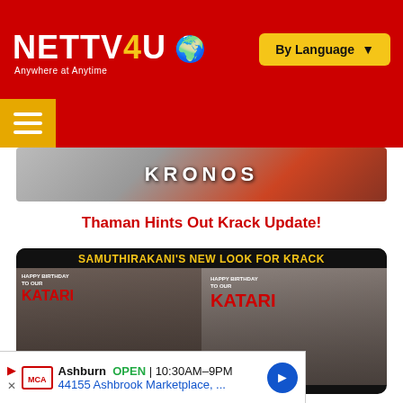[Figure (screenshot): NETTV4U website header with red background, logo on left, By Language button on right]
[Figure (screenshot): Hamburger menu button on red background bar]
[Figure (photo): KRONOS movie image banner]
Thaman Hints Out Krack Update!
[Figure (photo): Samuthirakani's New Look For Krack - showing actor in two poses with KATARI text and KRACK branding]
[Figure (screenshot): Advertisement: Ashburn OPEN 10:30AM-9PM, 44155 Ashbrook Marketplace, MCA]